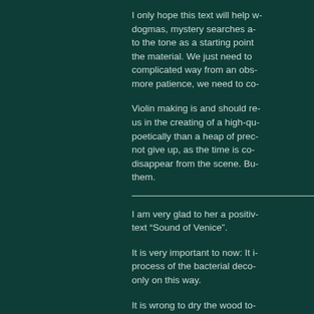I only hope this text will help w- dogmas, mystery searches a- to the tone as a starting point the material. We just need to complicated way from an obs- more patience, we need to co-
Violin making is and should re- us in the creating of a high-qu- poetically than a heap of prec- not give up, as the time is co- disappear from the scene. Bu- them.
I am very glad to her a positiv- text “Sound of Venice”.
It is very important to now: It i- process of the bacterial deco- only on this way.
It is wrong to dry the wood to-
It is best to keep it moist as lo-
Best Regards,